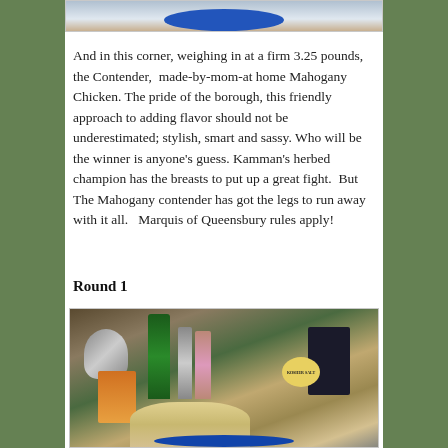[Figure (photo): Top portion of a photo showing what appears to be food on a blue plate, partially cropped]
And in this corner, weighing in at a firm 3.25 pounds, the Contender,  made-by-mom-at home Mahogany Chicken. The pride of the borough, this friendly approach to adding flavor should not be underestimated; stylish, smart and sassy. Who will be the winner is anyone's guess. Kamman's herbed champion has the breasts to put up a great fight.  But The Mahogany contender has got the legs to run away with it all.   Marquis of Queensbury rules apply!
Round 1
[Figure (photo): Photo of kitchen ingredients and items on a wooden cutting board including a green bottle of liquor, metal kettle, various bottles, a box of Morton Kosher Salt, an orange spice box, and a whole raw chicken in the foreground with a blue plate partially visible at the bottom]